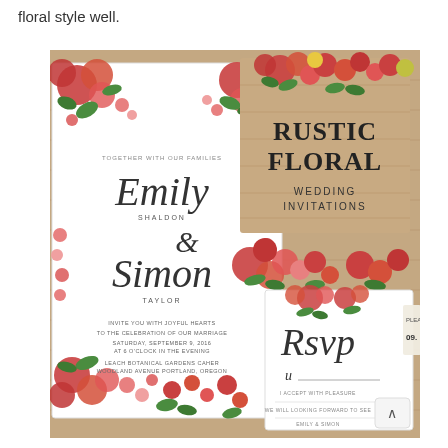floral style well.
[Figure (photo): A rustic floral wedding invitation set displayed on a wooden background. Shows a white floral-bordered wedding invitation for Emily Shaldon and Simon Taylor, a rustic wooden card reading 'RUSTIC FLORAL WEDDING INVITATIONS', and an RSVP card with script lettering. Red roses and green leaves decorate the borders.]